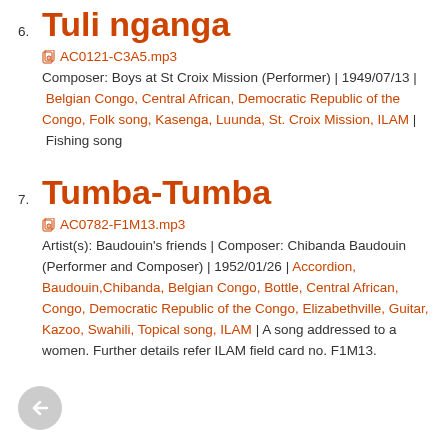6. Tuli nganga
AC0121-C3A5.mp3
Composer: Boys at St Croix Mission (Performer) | 1949/07/13 | Belgian Congo, Central African, Democratic Republic of the Congo, Folk song, Kasenga, Luunda, St. Croix Mission, ILAM | Fishing song
7. Tumba-Tumba
AC0782-F1M13.mp3
Artist(s): Baudouin's friends | Composer: Chibanda Baudouin (Performer and Composer) | 1952/01/26 | Accordion, Baudouin,Chibanda, Belgian Congo, Bottle, Central African, Congo, Democratic Republic of the Congo, Elizabethville, Guitar, Kazoo, Swahili, Topical song, ILAM | A song addressed to a women. Further details refer ILAM field card no. F1M13.